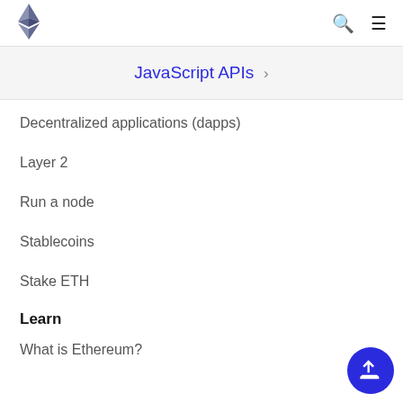Ethereum logo, search icon, menu icon
JavaScript APIs >
Decentralized applications (dapps)
Layer 2
Run a node
Stablecoins
Stake ETH
Learn
What is Ethereum?